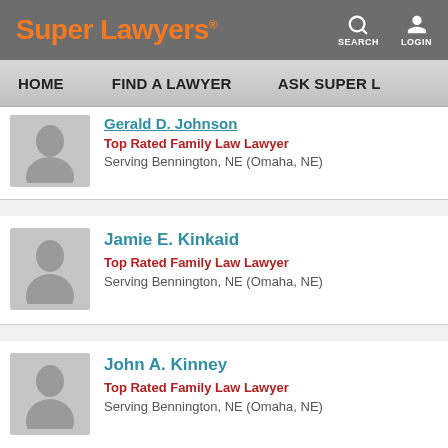Super Lawyers | SEARCH | LOGIN
HOME | FIND A LAWYER | ASK SUPER L...
Gerald D. Johnson (partial) — Top Rated Family Law Lawyer — Serving Bennington, NE (Omaha, NE)
Jamie E. Kinkaid — Top Rated Family Law Lawyer — Serving Bennington, NE (Omaha, NE)
John A. Kinney — Top Rated Family Law Lawyer — Serving Bennington, NE (Omaha, NE)